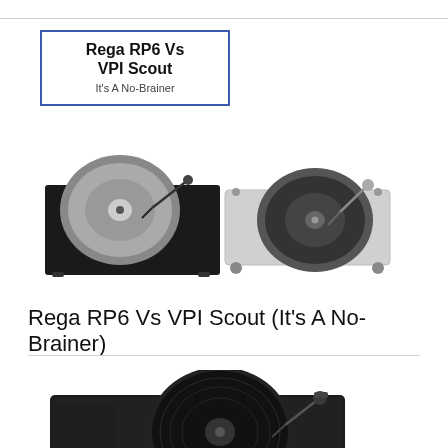Rega RP6 Vs VPI Scout
It's A No-Brainer
[Figure (photo): Two turntables side by side: Rega RP6 (left, black rectangular base with silver platter) and VPI Scout (right, silver/chrome open design with black platter)]
Rega RP6 Vs VPI Scout (It's A No-Brainer)
[Figure (photo): A single black turntable (low-profile rectangular design) with a tonearm and record on a white background]